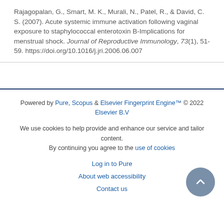Rajagopalan, G., Smart, M. K., Murali, N., Patel, R., & David, C. S. (2007). Acute systemic immune activation following vaginal exposure to staphylococcal enterotoxin B-Implications for menstrual shock. Journal of Reproductive Immunology, 73(1), 51-59. https://doi.org/10.1016/j.jri.2006.06.007
Powered by Pure, Scopus & Elsevier Fingerprint Engine™ © 2022 Elsevier B.V
We use cookies to help provide and enhance our service and tailor content. By continuing you agree to the use of cookies
Log in to Pure
About web accessibility
Contact us